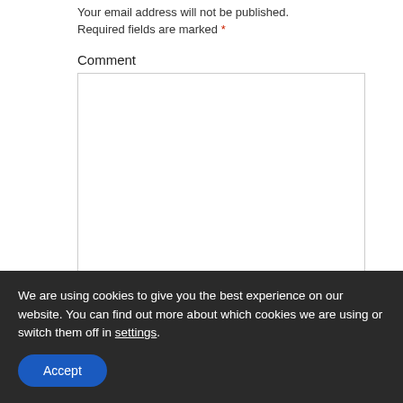Your email address will not be published.
Required fields are marked *
Comment
[Figure (other): Comment text area input box]
Name *
We are using cookies to give you the best experience on our website. You can find out more about which cookies we are using or switch them off in settings.
Accept